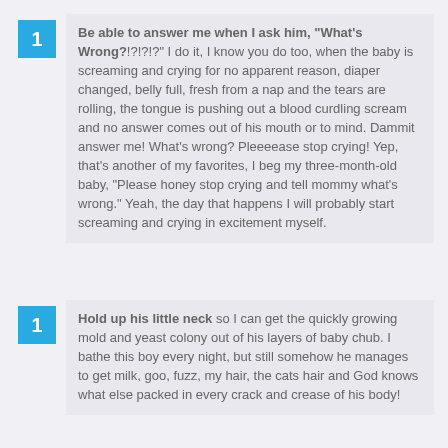Be able to answer me when I ask him, "What's Wrong?!?!?!?" I do it, I know you do too, when the baby is screaming and crying for no apparent reason, diaper changed, belly full, fresh from a nap and the tears are rolling, the tongue is pushing out a blood curdling scream and no answer comes out of his mouth or to mind. Dammit answer me! What's wrong? Pleeeease stop crying! Yep, that's another of my favorites, I beg my three-month-old baby, "Please honey stop crying and tell mommy what's wrong." Yeah, the day that happens I will probably start screaming and crying in excitement myself.
Hold up his little neck so I can get the quickly growing mold and yeast colony out of his layers of baby chub. I bathe this boy every night, but still somehow he manages to get milk, goo, fuzz, my hair, the cats hair and God knows what else packed in every crack and crease of his body!